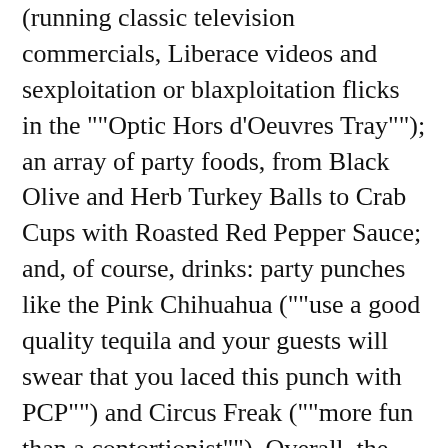(running classic television commercials, Liberace videos and sexploitation or blaxploitation flicks in the ""Optic Hors d'Oeuvres Tray""); an array of party foods, from Black Olive and Herb Turkey Balls to Crab Cups with Roasted Red Pepper Sauce; and, of course, drinks: party punches like the Pink Chihuahua (""use a good quality tequila and your guests will swear that you laced this punch with PCP"") and Circus Freak (""more fun than a contortionist""). Overall, the events Maranian seems to favor are laddish affairs, with vintage decorations, gimmicky food and libations, and a guest list of Betty Page lookalikes. With good-natured prodding and a connoisseur's touch, this glitzy, self-consciously hip little book should push the Ha[redacted]evels of soc[redacted]